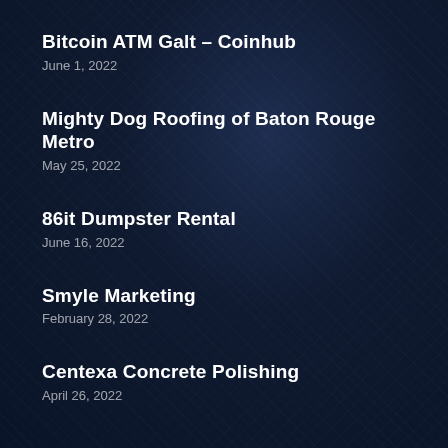Bitcoin ATM Galt – Coinhub
June 1, 2022
Mighty Dog Roofing of Baton Rouge Metro
May 25, 2022
86it Dumpster Rental
June 16, 2022
Smyle Marketing
February 28, 2022
Centexa Concrete Polishing
April 26, 2022